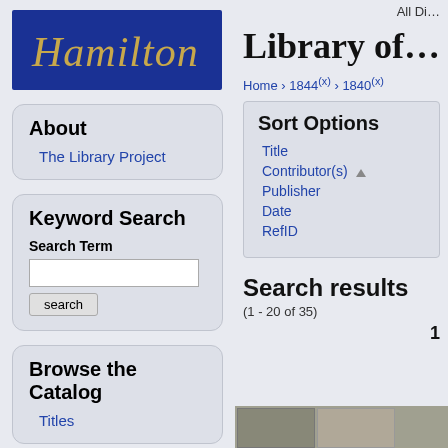[Figure (logo): Hamilton college logo — dark blue background with gold italic serif text 'Hamilton']
About
The Library Project
Keyword Search
Search Term
[search input]
search
Browse the Catalog
Titles
All Di…
Library of…
Home › 1844 (x) › 1840 (x)
Sort Options
Title
Contributor(s) ▲
Publisher
Date
RefID
Search results
(1 - 20 of 35)
1
[Figure (photo): Thumbnail images of catalog items at the bottom of the search results]